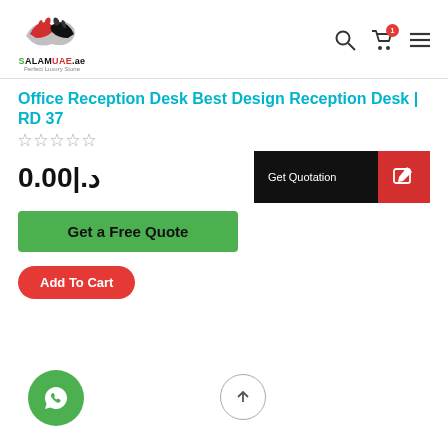[Figure (logo): SalamUAE.ae logo with handshake icon and tagline 'Perfect Luxury Stone']
Office Reception Desk Best Design Reception Desk | RD 37
0.00|.د
[Figure (other): Get Quotation button with black and red background and edit icon]
Get a Free Quote
Add To Cart
[Figure (other): WhatsApp floating action button (green circle with WhatsApp icon)]
[Figure (other): Scroll to top button (circle with upward arrow)]